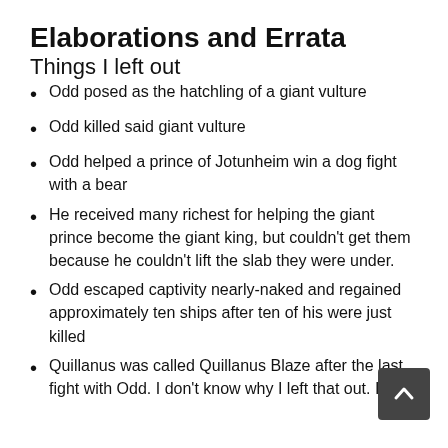Elaborations and Errata
Things I left out
Odd posed as the hatchling of a giant vulture
Odd killed said giant vulture
Odd helped a prince of Jotunheim win a dog fight with a bear
He received many richest for helping the giant prince become the giant king, but couldn't get them because he couldn't lift the slab they were under.
Odd escaped captivity nearly-naked and regained approximately ten ships after ten of his were just killed
Quillanus was called Quillanus Blaze after the last fight with Odd. I don't know why I left that out. It's